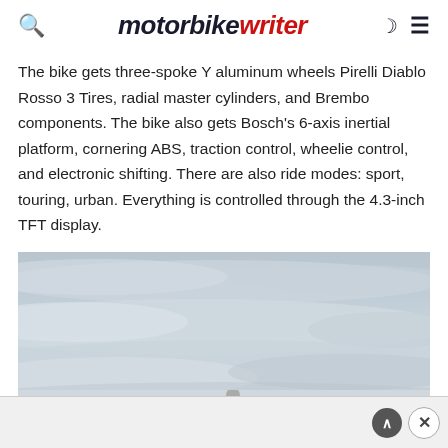motorbike writer
The bike gets three-spoke Y aluminum wheels Pirelli Diablo Rosso 3 Tires, radial master cylinders, and Brembo components. The bike also gets Bosch's 6-axis inertial platform, cornering ABS, traction control, wheelie control, and electronic shifting. There are also ride modes: sport, touring, urban. Everything is controlled through the 4.3-inch TFT display.
[Figure (photo): Outdoor photo with overcast sky and clouds, with a motorcycle visible at the bottom portion of the image. Sky is grey-blue with layered clouds.]